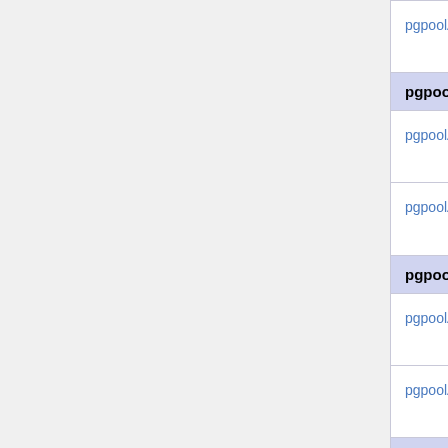| Version | Date | Type |
| --- | --- | --- |
| pgpoolAdmin 4.1.0 | 2020-02-20 | So- .gz |
| pgpoolAdmin 4.0 |  |  |
| pgpoolAdmin 4.0.1 | 2018-12-20 | So- .gz |
| pgpoolAdmin 4.0.0 | 2018-10-19 | So- .gz |
| pgpoolAdmin 3.7 |  |  |
| pgpoolAdmin 3.7.1 | 2018-02-05 | So- .gz |
| pgpoolAdmin 3.7.0 | 2017-11-22 | So- .gz |
| pgpoolAdmin 3.6 |  |  |
| pgpoolAdmin 3.6.2 | 2017-09-05 | So- .gz |
| pgpoolAdmin 3.6.1 | 2017-04-28 | So- .gz |
| pgpoolAdmin 3.6.0 | 2017-02- | So- |